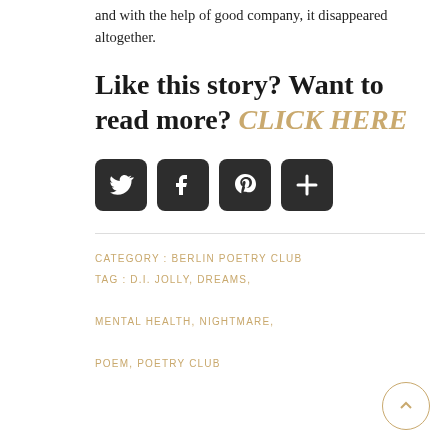and with the help of good company, it disappeared altogether.
Like this story? Want to read more? CLICK HERE
[Figure (other): Social sharing icon buttons: Twitter, Facebook, Pinterest, and a plus/share button, each in a dark rounded-square button.]
CATEGORY : BERLIN POETRY CLUB
TAG : D.I. JOLLY, DREAMS,
MENTAL HEALTH, NIGHTMARE,
POEM, POETRY CLUB